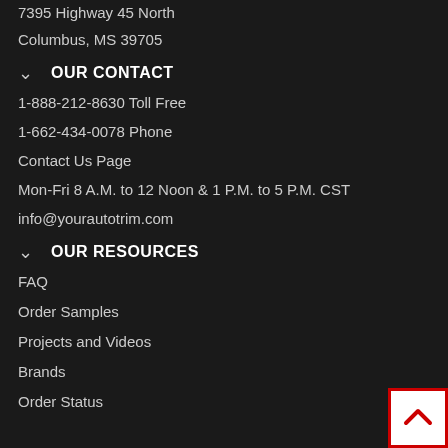7395 Highway 45 North
Columbus, MS 39705
OUR CONTACT
1-888-212-8630 Toll Free
1-662-434-0078 Phone
Contact Us Page
Mon-Fri 8 A.M. to 12 Noon & 1 P.M. to 5 P.M. CST
info@yourautotrim.com
OUR RESOURCES
FAQ
Order Samples
Projects and Videos
Brands
Order Status
[Figure (other): Back to top button with red border and upward chevron arrow]